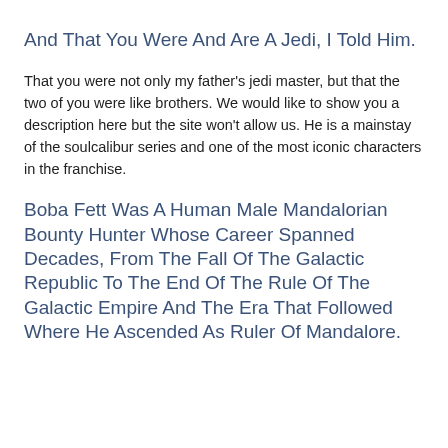And That You Were And Are A Jedi, I Told Him.
That you were not only my father's jedi master, but that the two of you were like brothers. We would like to show you a description here but the site won't allow us. He is a mainstay of the soulcalibur series and one of the most iconic characters in the franchise.
Boba Fett Was A Human Male Mandalorian Bounty Hunter Whose Career Spanned Decades, From The Fall Of The Galactic Republic To The End Of The Rule Of The Galactic Empire And The Era That Followed Where He Ascended As Ruler Of Mandalore.